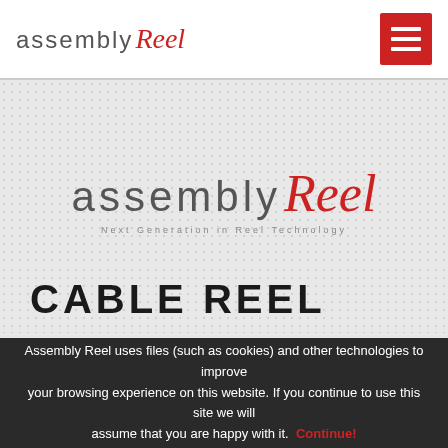assembly Reel
[Figure (logo): Assembly Reel logo centered on dotted grey background with tagline 'Next Generation in Reel Technology']
CABLE REEL
Assembly Reel uses files (such as cookies) and other technologies to improve your browsing experience on this website. If you continue to use this site we will assume that you are happy with it. Continue!